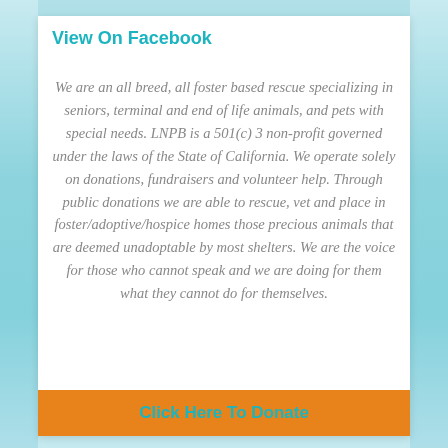View On Facebook
We are an all breed, all foster based rescue specializing in seniors, terminal and end of life animals, and pets with special needs. LNPB is a 501(c) 3 non-profit governed under the laws of the State of California. We operate solely on donations, fundraisers and volunteer help. Through public donations we are able to rescue, vet and place in foster/adoptive/hospice homes those precious animals that are deemed unadoptable by most shelters. We are the voice for those who cannot speak and we are doing for them what they cannot do for themselves.
Click Here To Donate